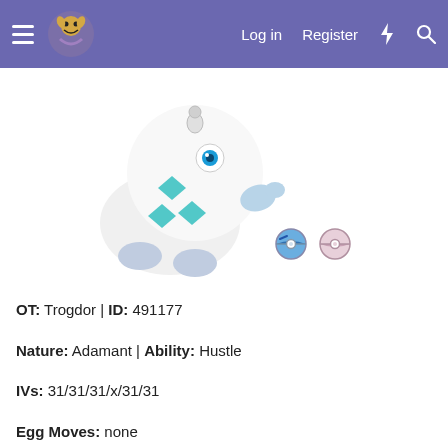Log in  Register
[Figure (illustration): A white ghost-like Pokémon (Mimeor Mime Jr.) with teal diamond shapes on its body, floating against a white background]
[Figure (illustration): Two Pokéballs side by side: a blue Great Ball and a pink/purple Heal Ball or Premier Ball]
OT: Trogdor | ID: 491177
Nature: Adamant | Ability: Hustle
IVs: 31/31/31/x/31/31
Egg Moves: none
Last edited: Dec 22, 2019
[Figure (illustration): User avatar showing an anime-style character with blonde hair and purple pokemon]
Widdly_Scuds
Dec 22, 2019
#8
[KALOS]